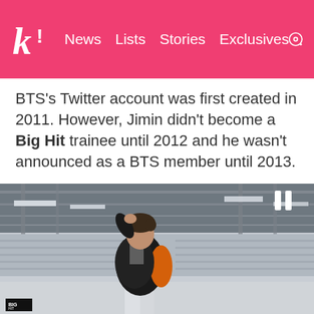k! News Lists Stories Exclusives
BTS's Twitter account was first created in 2011. However, Jimin didn't become a Big Hit trainee until 2012 and he wasn't announced as a BTS member until 2013.
[Figure (photo): Jimin standing outdoors in front of stadium bleachers, wearing a black jacket with orange sleeves, hand raised to his head, looking upward. Small Big Hit logo watermark in bottom left corner.]